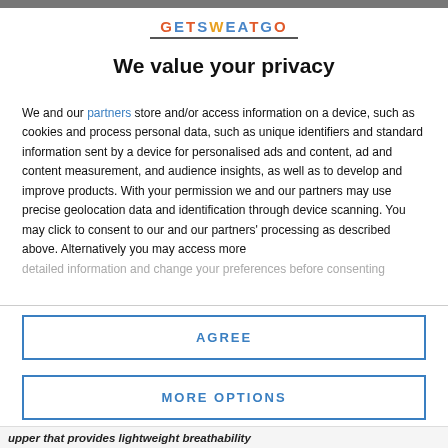[Figure (logo): GETSWEATGO logo with multicolored letters and underline]
We value your privacy
We and our partners store and/or access information on a device, such as cookies and process personal data, such as unique identifiers and standard information sent by a device for personalised ads and content, ad and content measurement, and audience insights, as well as to develop and improve products. With your permission we and our partners may use precise geolocation data and identification through device scanning. You may click to consent to our and our partners' processing as described above. Alternatively you may access more detailed information and change your preferences before consenting
AGREE
MORE OPTIONS
upper that provides lightweight breathability